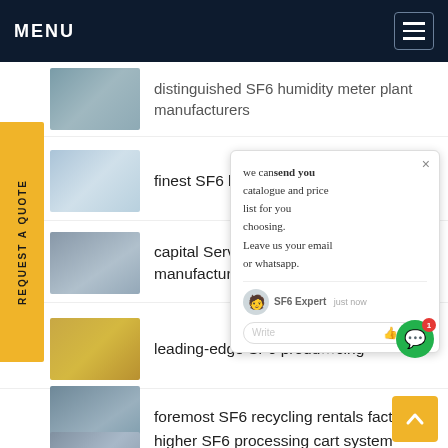MENU
distinguished SF6 humidity meter plant manufacturers
finest SF6 koblingsanleg t
capital Service SF6 reco manufacturers
leading-edge SF6 produ cing
foremost SF6 recycling rentals factory
higher SF6 processing cart system prices
[Figure (screenshot): Chat popup overlay with message: we cansend you catalogue and price list for you choosing. Leave us your email or whatsapp. SF6 Expert just now. Write input field with thumbs up and paperclip icons.]